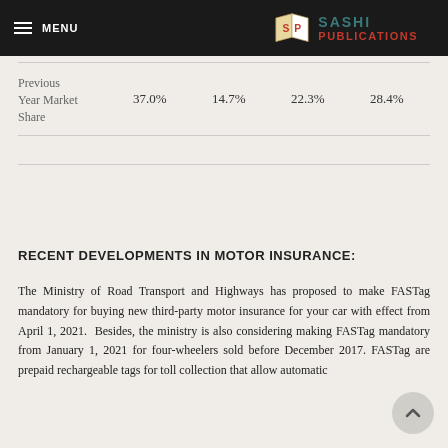MENU | SASHI PUBLICATIONS
|  |  |  |  |  |
| --- | --- | --- | --- | --- |
| Previous Year Market Share | 37.0% | 14.7% | 22.3% | 28.4% |
RECENT DEVELOPMENTS IN MOTOR INSURANCE:
The Ministry of Road Transport and Highways has proposed to make FASTag mandatory for buying new third-party motor insurance for your car with effect from April 1, 2021. Besides, the ministry is also considering making FASTag mandatory from January 1, 2021 for four-wheelers sold before December 2017. FASTag are prepaid rechargeable tags for toll collection that allow automatic